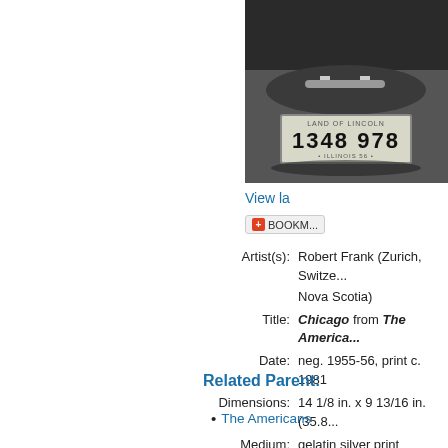[Figure (photo): Black and white photograph showing a car with an Illinois license plate reading '1348 978', from Robert Frank's 'The Americans' series, Chicago.]
View la
BOOKMARK
| Artist(s): | Robert Frank (Zurich, Switze... Nova Scotia) |
| Title: | Chicago from The America... |
| Date: | neg. 1955-56, print c. 1981 |
| Dimensions: | 14 1/8 in. x 9 13/16 in. (35.8... |
| Medium: | gelatin silver print |
| Credit Line: | Addison Gallery of American... purchase, 1989.77.79 |
Related Parent:
The Americans